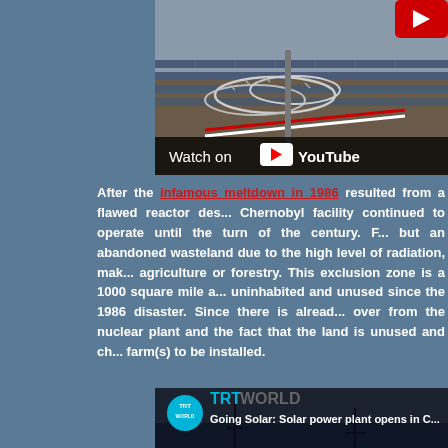[Figure (screenshot): YouTube video thumbnail showing solar panels at Chernobyl with razor wire in foreground. Shows 'Watch on YouTube' bar at bottom.]
After the infamous meltdown in 1986 resulted from a flawed reactor des... Chernobyl facility continued to operate until the turn of the century. F... but an abandoned wasteland due to the high level of radiation, mak... agriculture or forestry. This exclusion zone is a 1000 square mile a... uninhabited and unused since the 1986 disaster. Since there is alread... over from the nuclear plant and the fact that the land is unused and ch... farm(s) to be installed.
[Figure (screenshot): TRT World video thumbnail with title 'Going Solar: Solar power plant opens in C...' showing electricity pylons silhouetted at dusk.]